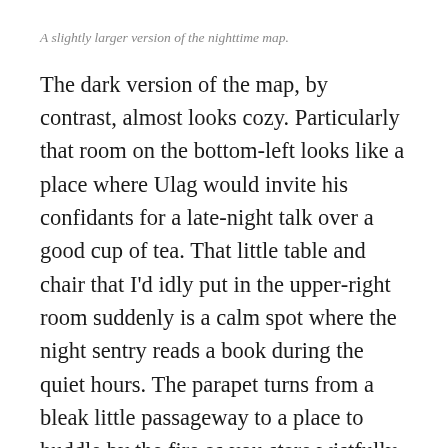A slightly larger version of the nighttime map.
The dark version of the map, by contrast, almost looks cozy. Particularly that room on the bottom-left looks like a place where Ulag would invite his confidants for a late-night talk over a good cup of tea. That little table and chair that I'd idly put in the upper-right room suddenly is a calm spot where the night sentry reads a book during the quiet hours. The parapet turns from a bleak little passageway to a place to huddle by the fire as you stare wistfully out at the lake.
I've learned a lot from making this map, and I'm quite pleased with the outcome. If you'd